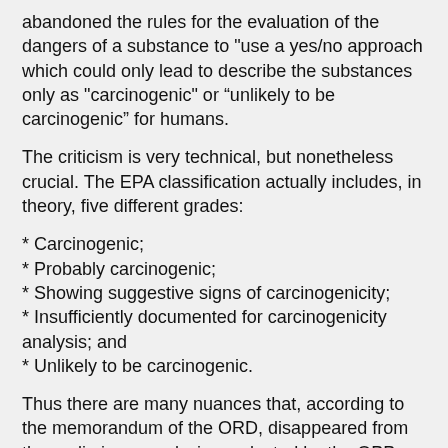abandoned the rules for the evaluation of the dangers of a substance to "use a yes/no approach which could only lead to describe the substances only as "carcinogenic" or “unlikely to be carcinogenic” for humans.
The criticism is very technical, but nonetheless crucial. The EPA classification actually includes, in theory, five different grades:
* Carcinogenic;
* Probably carcinogenic;
* Showing suggestive signs of carcinogenicity;
* Insufficiently documented for carcinogenicity analysis; and
* Unlikely to be carcinogenic.
Thus there are many nuances that, according to the memorandum of the ORD, disappeared from the preliminary analysis conducted by the OPP.